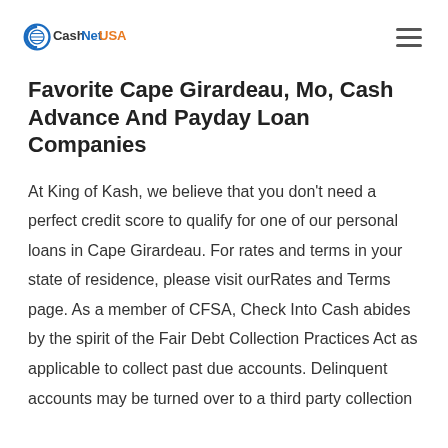CashNetUSA
Favorite Cape Girardeau, Mo, Cash Advance And Payday Loan Companies
At King of Kash, we believe that you don't need a perfect credit score to qualify for one of our personal loans in Cape Girardeau. For rates and terms in your state of residence, please visit ourRates and Terms page. As a member of CFSA, Check Into Cash abides by the spirit of the Fair Debt Collection Practices Act as applicable to collect past due accounts. Delinquent accounts may be turned over to a third party collection